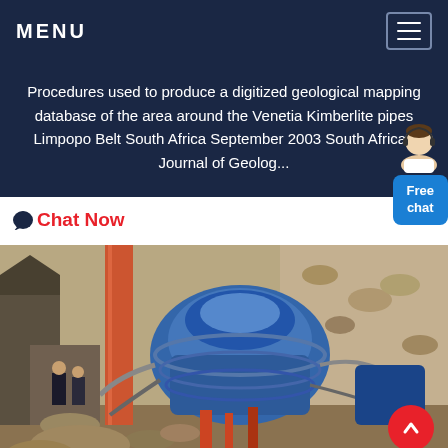MENU
Procedures used to produce a digitized geological mapping database of the area around the Venetia Kimberlite pipes Limpopo Belt South Africa September 2003 South African Journal of Geolog...
Chat Now
[Figure (photo): Industrial mining equipment — a cone crusher or similar heavy machinery painted blue, with pipes, hoses, and rocky aggregate material visible. Two workers are visible in the background on the left side. The setting appears to be an open-pit or surface mine.]